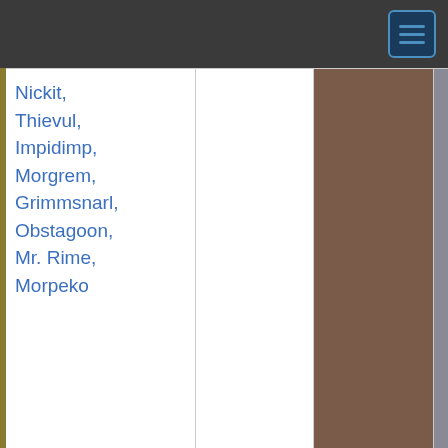| Pokemon | Move | Type | Category | Power | Accuracy |
| --- | --- | --- | --- | --- | --- |
| Nickit, Thievul, Impidimp, Morgrem, Grimmsnarl, Obstagoon, Mr. Rime, Morpeko |  |  |  |  |  |
| Elgyem, Beheeyem, Wooloo, Dubwool | Guard Split | Psychic | Status | — | — |
| Rattata, Raticate, Nidoking, Meowth, Persian |  |  |  |  |  |